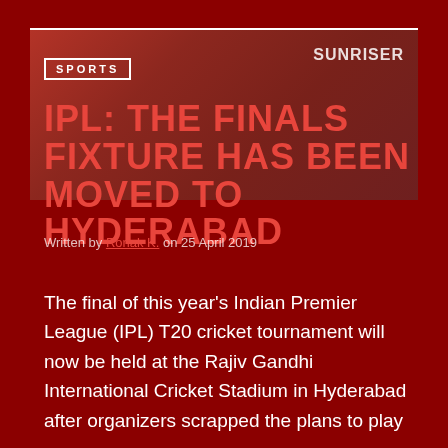[Figure (photo): Cricket match photo with crowd in stands, red-themed image with SUNRISER text visible and IPL/T20.COM watermark]
SPORTS
IPL: THE FINALS FIXTURE HAS BEEN MOVED TO HYDERABAD
Written by Ronak K. on 25 April 2019
The final of this year's Indian Premier League (IPL) T20 cricket tournament will now be held at the Rajiv Gandhi International Cricket Stadium in Hyderabad after organizers scrapped the plans to play